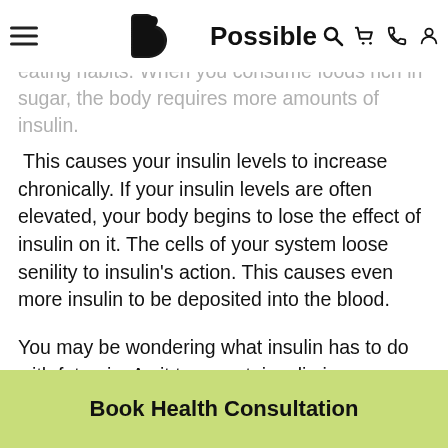Possible
the glucose for energy production. The amount of insulin circulating throughout your body varies by your eating habits. When you consume foods rich in sugar, the body requires more amounts of insulin.
This causes your insulin levels to increase chronically. If your insulin levels are often elevated, your body begins to lose the effect of insulin on it. The cells of your system loose senility to insulin's action. This causes even more insulin to be deposited into the blood.
You may be wondering what insulin has to do with fat gain. As it turns out, insulin is an anabolic, pro-grow, fat-storing hormone. Basically, the higher its levels in the human body are, the more energy you store as fat.
Book Health Consultation